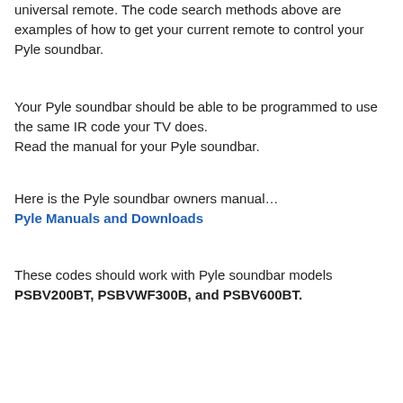universal remote. The code search methods above are examples of how to get your current remote to control your Pyle soundbar.
Your Pyle soundbar should be able to be programmed to use the same IR code your TV does.
Read the manual for your Pyle soundbar.
Here is the Pyle soundbar owners manual…
Pyle Manuals and Downloads
These codes should work with Pyle soundbar models PSBV200BT, PSBVWF300B, and PSBV600BT.